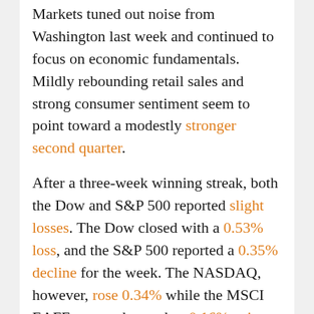Markets tuned out noise from Washington last week and continued to focus on economic fundamentals. Mildly rebounding retail sales and strong consumer sentiment seem to point toward a modestly stronger second quarter.
After a three-week winning streak, both the Dow and S&P 500 reported slight losses. The Dow closed with a 0.53% loss, and the S&P 500 reported a 0.35% decline for the week. The NASDAQ, however, rose 0.34% while the MSCI EAFE reported a modest 0.16% gain.